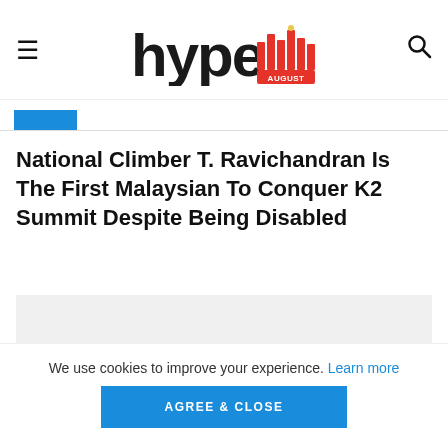hype [navigation logo with August badge]
National Climber T. Ravichandran Is The First Malaysian To Conquer K2 Summit Despite Being Disabled
[Figure (photo): Gray placeholder image area with a DINING category badge in blue at the bottom left]
We use cookies to improve your experience. Learn more AGREE & CLOSE